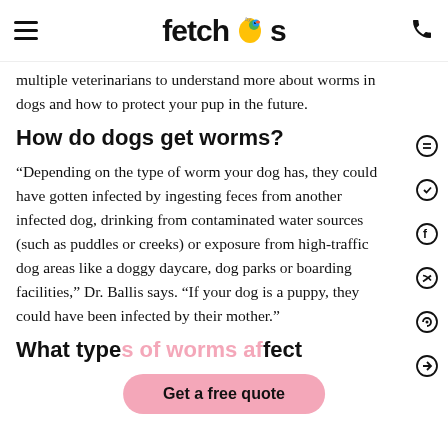fetch by [logo]
multiple veterinarians to understand more about worms in dogs and how to protect your pup in the future.
How do dogs get worms?
“Depending on the type of worm your dog has, they could have gotten infected by ingesting feces from another infected dog, drinking from contaminated water sources (such as puddles or creeks) or exposure from high-traffic dog areas like a doggy daycare, dog parks or boarding facilities,” Dr. Ballis says. “If your dog is a puppy, they could have been infected by their mother.”
What types of worms affect
Get a free quote